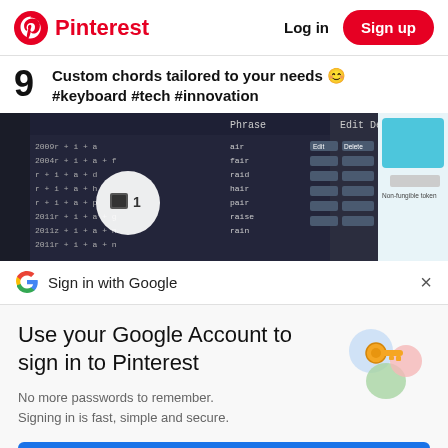Pinterest | Log in | Sign up
9 Custom chords tailored to your needs 😊 #keyboard #tech #innovation
[Figure (screenshot): Screenshot of a keyboard chord tool showing chord combinations and edit/delete options, and a non-fungible token related image.]
Sign in with Google
Use your Google Account to sign in to Pinterest
No more passwords to remember. Signing in is fast, simple and secure.
Continue